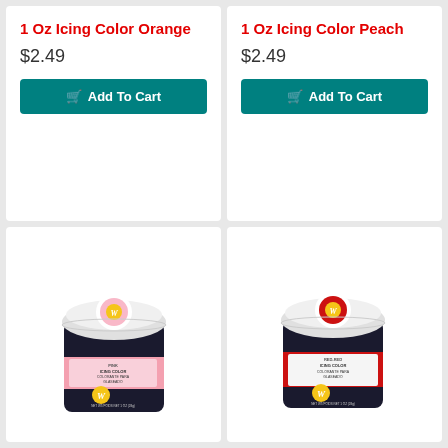1 Oz Icing Color Orange
$2.49
Add To Cart
1 Oz Icing Color Peach
$2.49
Add To Cart
[Figure (photo): Wilton 1 oz Icing Color jar - Pink, showing label ICING COLOR COLORANTE PARA GLASEADO ROSA with Wilton logo]
[Figure (photo): Wilton 1 oz Icing Color jar - Red-Red, showing label ICING COLOR COLORANTE PARA GLASEADO with Wilton logo]